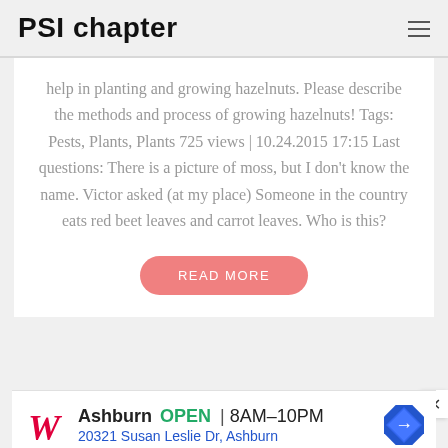PSI chapter
help in planting and growing hazelnuts. Please describe the methods and process of growing hazelnuts! Tags: Pests, Plants, Plants 725 views | 10.24.2015 17:15 Last questions: There is a picture of moss, but I don’t know the name. Victor asked (at my place) Someone in the country eats red beet leaves and carrot leaves. Who is this?
READ MORE
[Figure (screenshot): Advertisement banner: Walgreens logo, Ashburn OPEN 8AM-10PM, 20321 Susan Leslie Dr, Ashburn, with navigation icon]